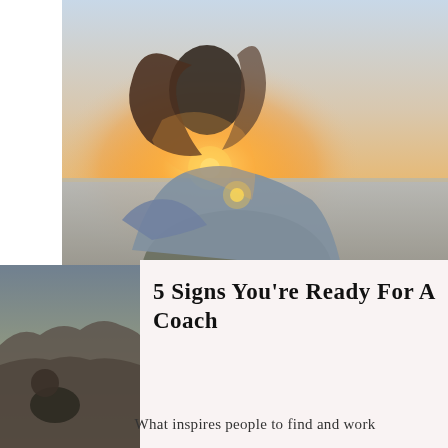[Figure (photo): Woman with long hair looking up toward a glowing sunset over the ocean, shot from behind, warm orange and golden light]
[Figure (photo): Partial side image visible on left edge showing another outdoor scenic photo]
5 Signs You're Ready For A Coach
What inspires people to find and work